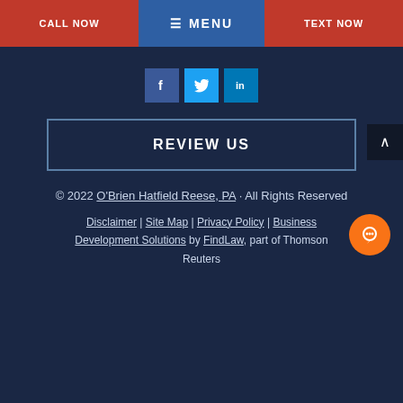CALL NOW | MENU | TEXT NOW
[Figure (illustration): Social media icons: Facebook (blue square), Twitter (light blue square), LinkedIn (blue square)]
REVIEW US
© 2022 O'Brien Hatfield Reese, PA · All Rights Reserved
Disclaimer | Site Map | Privacy Policy | Business Development Solutions by FindLaw, part of Thomson Reuters